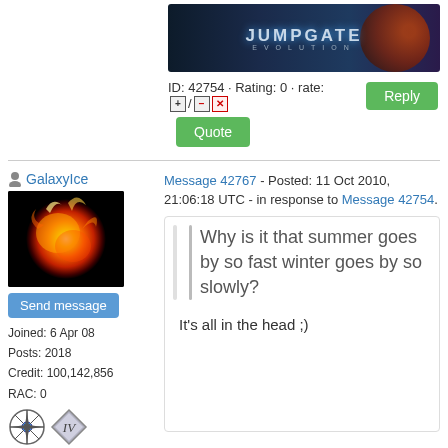[Figure (screenshot): Jumpgate Evolution game banner image — dark space background with orange planet and JUMPGATE EVOLUTION text]
ID: 42754 · Rating: 0 · rate: [+] / [-] [x]
Reply
Quote
GalaxyIce
[Figure (photo): User avatar: fiery planet/globe on black background]
Send message
Joined: 6 Apr 08
Posts: 2018
Credit: 100,142,856
RAC: 0
Message 42767 - Posted: 11 Oct 2010, 21:06:18 UTC - in response to Message 42754.
Why is it that summer goes by so fast winter goes by so slowly?

It's all in the head ;)